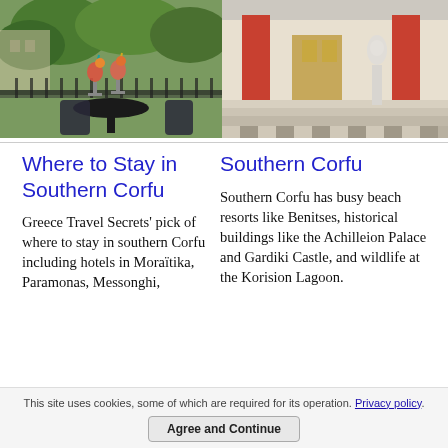[Figure (photo): Two photos side by side: left shows a balcony with cocktails on a round table and chairs with green trees in background; right shows a classical building entrance with orange/red pillars and a checkered marble floor with a white statue]
Where to Stay in Southern Corfu
Greece Travel Secrets' pick of where to stay in southern Corfu including hotels in Moraïtika, Paramonas, Messonghi,
Southern Corfu
Southern Corfu has busy beach resorts like Benitses, historical buildings like the Achilleion Palace and Gardiki Castle, and wildlife at the Korision Lagoon.
This site uses cookies, some of which are required for its operation. Privacy policy.
Agree and Continue